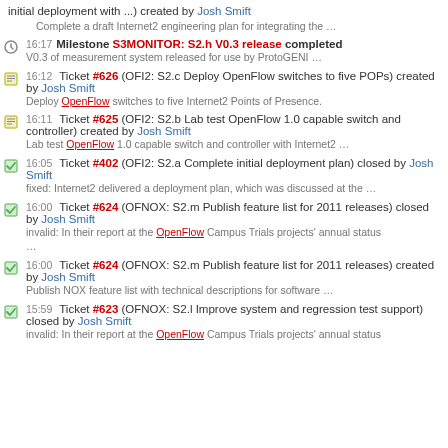initial deployment with ...) created by Josh Smift
Complete a draft Internet2 engineering plan for integrating the …
16:17 Milestone S3MONITOR: S2.h V0.3 release completed
V0.3 of measurement system released for use by ProtoGENI …
16:12 Ticket #626 (OFI2: S2.c Deploy OpenFlow switches to five POPs) created by Josh Smift
Deploy OpenFlow switches to five Internet2 Points of Presence.
16:11 Ticket #625 (OFI2: S2.b Lab test OpenFlow 1.0 capable switch and controller) created by Josh Smift
Lab test OpenFlow 1.0 capable switch and controller with Internet2 …
16:05 Ticket #402 (OFI2: S2.a Complete initial deployment plan) closed by Josh Smift
fixed: Internet2 delivered a deployment plan, which was discussed at the …
16:00 Ticket #624 (OFNOX: S2.m Publish feature list for 2011 releases) closed by Josh Smift
invalid: In their report at the OpenFlow Campus Trials projects' annual status …
16:00 Ticket #624 (OFNOX: S2.m Publish feature list for 2011 releases) created by Josh Smift
Publish NOX feature list with technical descriptions for software …
15:59 Ticket #623 (OFNOX: S2.l Improve system and regression test support) closed by Josh Smift
invalid: In their report at the OpenFlow Campus Trials projects' annual status